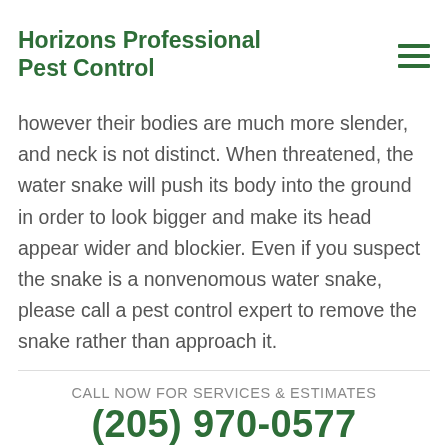Horizons Professional Pest Control
length as well as a pillow-y, triangular head. Many water snakes can imitate the cotton mouth, however their bodies are much more slender, and neck is not distinct. When threatened, the water snake will push its body into the ground in order to look bigger and make its head appear wider and blockier. Even if you suspect the snake is a nonvenomous water snake, please call a pest control expert to remove the snake rather than approach it.
CALL NOW FOR SERVICES & ESTIMATES
(205) 970-0577